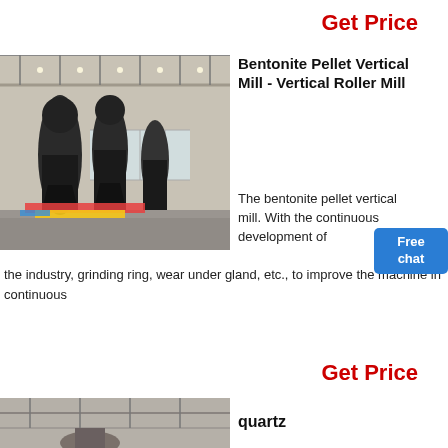Get Price
[Figure (photo): Industrial factory floor with large vertical roller mill machines, high ceiling warehouse with natural light from windows]
Bentonite Pellet Vertical Mill - Vertical Roller Mill
The bentonite pellet vertical mill. With the continuous development of the industry, grinding ring, wear under gland, etc., to improve the machine in continuous
Get Price
[Figure (photo): Industrial interior showing ceiling and machinery]
quartz